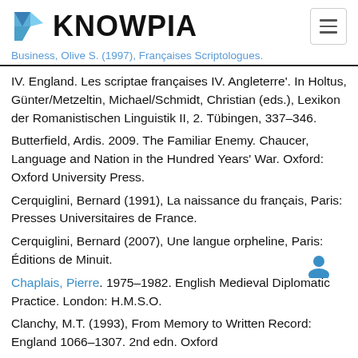KNOWPIA
Business, Olive S. (1997). Françaises Scriptologues.
IV. England. Les scriptae françaises IV. Angleterre'. In Holtus, Günter/Metzeltin, Michael/Schmidt, Christian (eds.), Lexikon der Romanistischen Linguistik II, 2. Tübingen, 337–346.
Butterfield, Ardis. 2009. The Familiar Enemy. Chaucer, Language and Nation in the Hundred Years' War. Oxford: Oxford University Press.
Cerquiglini, Bernard (1991), La naissance du français, Paris: Presses Universitaires de France.
Cerquiglini, Bernard (2007), Une langue orpheline, Paris: Éditions de Minuit.
Chaplais, Pierre. 1975–1982. English Medieval Diplomatic Practice. London: H.M.S.O.
Clanchy, M.T. (1993), From Memory to Written Record: England 1066–1307. 2nd edn. Oxford...